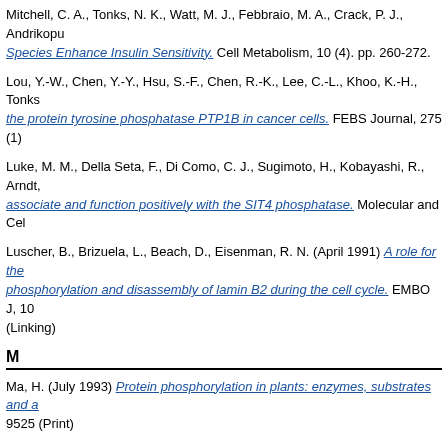Mitchell, C. A., Tonks, N. K., Watt, M. J., Febbraio, M. A., Crack, P. J., Andrikopu... Species Enhance Insulin Sensitivity. Cell Metabolism, 10 (4). pp. 260-272.
Lou, Y.-W., Chen, Y.-Y., Hsu, S.-F., Chen, R.-K., Lee, C.-L., Khoo, K.-H., Tonks... the protein tyrosine phosphatase PTP1B in cancer cells. FEBS Journal, 275 (1)
Luke, M. M., Della Seta, F., Di Como, C. J., Sugimoto, H., Kobayashi, R., Arndt,... associate and function positively with the SIT4 phosphatase. Molecular and Cel
Luscher, B., Brizuela, L., Beach, D., Eisenman, R. N. (April 1991) A role for the phosphorylation and disassembly of lamin B2 during the cell cycle. EMBO J, 10... (Linking)
M
Ma, H. (July 1993) Protein phosphorylation in plants: enzymes, substrates and a... 9525 (Print)
Matsumoto, T., Beach, D. (March 1993) Interaction of the pim1/spi1 mitotic chec... pp. 337-45. ISSN 1059-1524 (Print)
Meng, T. C., Tonks, N. K. (2003) Analysis of the regulation of protein tyrosine ph... Phosphatases. Methods in Enzymology, 366 . Academic Press Inc, San Diego,
Murray, M. V., Kobayashi, R., Krainer, A. R. (January 1999) The type 2C Ser/Th... factor. Genes & Development, 13 (1). pp. 87-97. ISSN 0890-9369
N